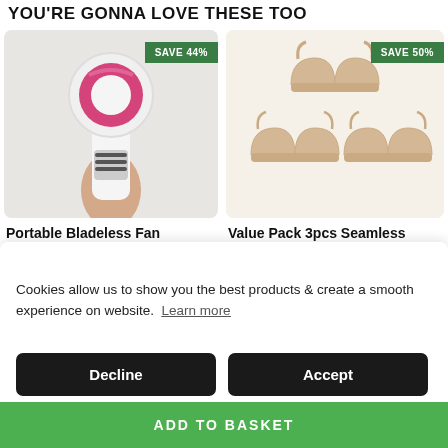YOU'RE GONNA LOVE THESE TOO
[Figure (photo): Portable bladeless fan held in hand, white and pink/magenta colors, with SAVE 44% badge]
Portable Bladeless Fan
£18.95  £33.95
[Figure (photo): Value pack 3pcs seamless push up bra wireless underwear in beige/nude color, three bras shown, with SAVE 50% badge]
Value Pack 3pcs Seamless Push Up Bra Wireless Underwear
£24.99  £49.99
Cookies allow us to show you the best products & create a smooth experience on website.  Learn more
Free Insured Shipping
Decline
Accept
ADD TO BASKET